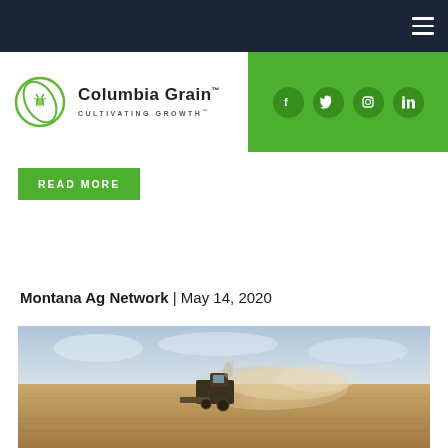Columbia Grain - Cultivating Growth
READ MORE
Montana Ag Network | May 14, 2020
[Figure (photo): Aerial view of a combine harvester working in a grain field, raising a dust cloud on a flat agricultural landscape under an overcast sky.]